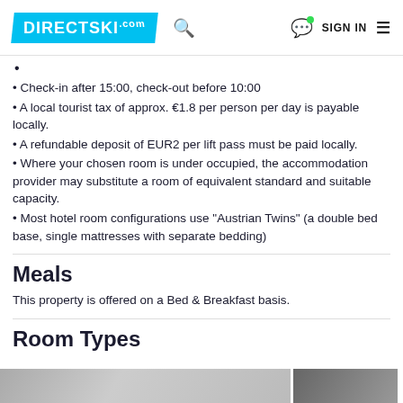DIRECTSKI.com
Check-in after 15:00, check-out before 10:00
A local tourist tax of approx. €1.8 per person per day is payable locally.
A refundable deposit of EUR2 per lift pass must be paid locally.
Where your chosen room is under occupied, the accommodation provider may substitute a room of equivalent standard and suitable capacity.
Most hotel room configurations use "Austrian Twins" (a double bed base, single mattresses with separate bedding)
Meals
This property is offered on a Bed & Breakfast basis.
Room Types
[Figure (photo): Photo strip showing hotel room images at bottom of page]